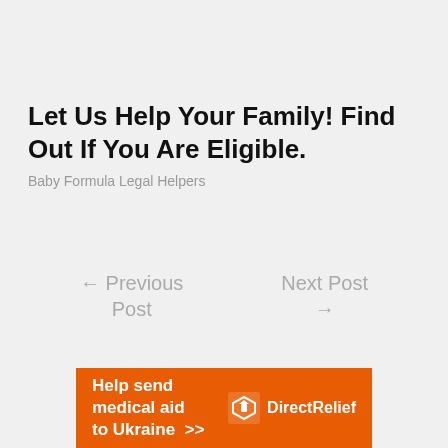Let Us Help Your Family! Find Out If You Are Eligible.
Baby Formula Legal Helpers
← Previous Post
Next Post →
[Figure (infographic): Orange banner advertisement for Direct Relief: 'Help send medical aid to Ukraine >>' with Direct Relief logo on right side]